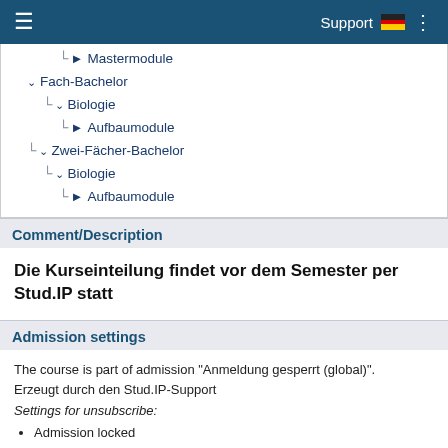Support
Mastermodule
Fach-Bachelor
Biologie
Aufbaumodule
Zwei-Fächer-Bachelor
Biologie
Aufbaumodule
Comment/Description
Die Kurseinteilung findet vor dem Semester per Stud.IP statt
Admission settings
The course is part of admission "Anmeldung gesperrt (global)". Erzeugt durch den Stud.IP-Support
Settings for unsubscribe:
Admission locked